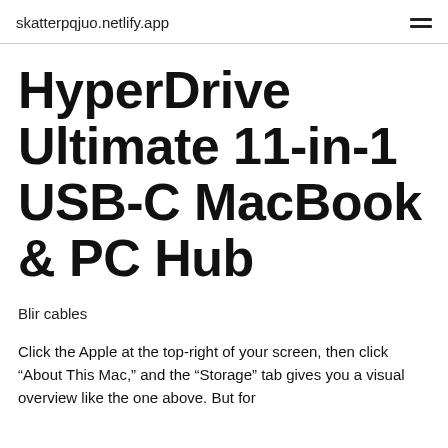skatterpqjuo.netlify.app
HyperDrive Ultimate 11-in-1 USB-C MacBook & PC Hub
Blir cables
Click the Apple at the top-right of your screen, then click “About This Mac,” and the “Storage” tab gives you a visual overview like the one above. But for